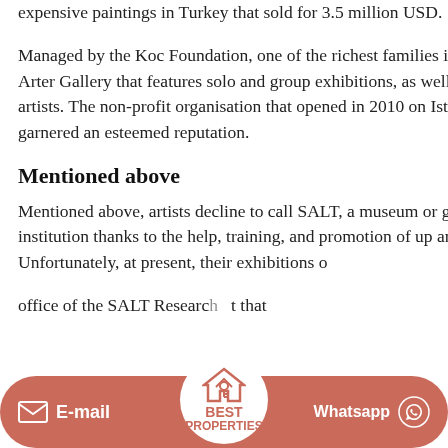expensive paintings in Turkey that sold for 3.5 million USD.
Managed by the Koc Foundation, one of the richest families in Turkey. Own the Arter Gallery that features solo and group exhibitions, as well as international artists. The non-profit organisation that opened in 2010 on Istiklal Avenue has garnered an esteemed reputation.
Mentioned above
Mentioned above, artists decline to call SALT, a museum or gallery but rather an institution thanks to the help, training, and promotion of up and coming artists. Unfortunately, at present, their exhibitions o... office of the SALT Research... t that ...
real estate prices revealed Over the previous months the mortgage increased
Average cost of rental apartments in Turkey increased by 15
Antaly provin
[Figure (logo): Best Properties logo - circular badge with house/key icon and text BEST PROPERTIES in coral/salmon color]
E-mail
Whatsapp